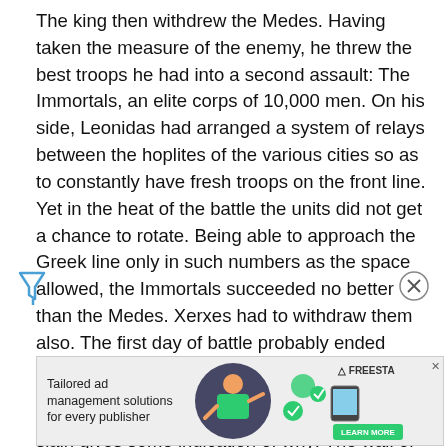The king then withdrew the Medes. Having taken the measure of the enemy, he threw the best troops he had into a second assault: The Immortals, an elite corps of 10,000 men. On his side, Leonidas had arranged a system of relays between the hoplites of the various cities so as to constantly have fresh troops on the front line. Yet in the heat of the battle the units did not get a chance to rotate. Being able to approach the Greek line only in such numbers as the space allowed, the Immortals succeeded no better than the Medes. Xerxes had to withdraw them also. The first day of battle probably ended here.
The assault failed again. The account of the slain gives some indication of why: The wall of bodies must have broken up the Persian line and detracted from their morale. History judges them perhaps too harshly. Climbing over the bodies of the dead, they kept attacking and killing the... them from withdrawing. The king at last stopped the assault and
[Figure (other): Advertisement banner: 'Tailored ad management solutions for every publisher' with FREESTA logo, illustrated graphic of person with technology elements, and green LEARN MORE button]